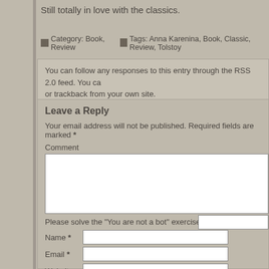Still totally in love with the classics.
Category: Book, Review   Tags: Anna Karenina, Book, Classic, Review, Tolstoy
You can follow any responses to this entry through the RSS 2.0 feed. You ca or trackback from your own site.
Leave a Reply
Your email address will not be published. Required fields are marked *
Comment
Please solve the "You are not a bot" exercise:   88 + 8 =
Name *
Email *
Website